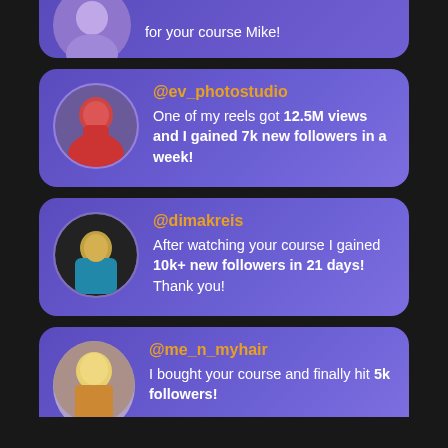[Figure (screenshot): Partial social media testimonial card (top cut off) — text says 'for your course Mike!']
@ev_photostudio
One of my reels got 12.5M views and I gained 7k new followers in a week!
@dimakreis
After watching your course I gained 10k+ new followers in 21 days! Thank you!
@me_n_myhair
I bought your course and finally hit 5k followers!